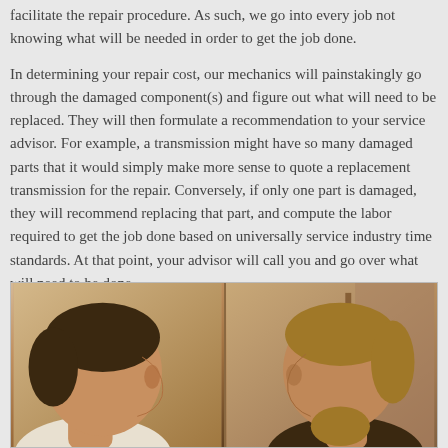facilitate the repair procedure. As such, we go into every job not knowing what will be needed in order to get the job done.

In determining your repair cost, our mechanics will painstakingly go through the damaged component(s) and figure out what will need to be replaced. They will then formulate a recommendation to your service advisor. For example, a transmission might have so many damaged parts that it would simply make more sense to quote a replacement transmission for the repair. Conversely, if only one part is damaged, they will recommend replacing that part, and compute the labor required to get the job done based on universally service industry time standards. At that point, your advisor will call you and go over what will need to be done.

Regardless of what needs to be done, you can count on Transmission Detroit to get the job done right, with the guaranteed to back it up! The Detroit Transmission workmanship truly speaks for itself.
[Figure (photo): Sepia-toned photo of two people facing each other in profile — person on left has short dark hair, person on right has lighter medium-length hair. Indoor setting.]